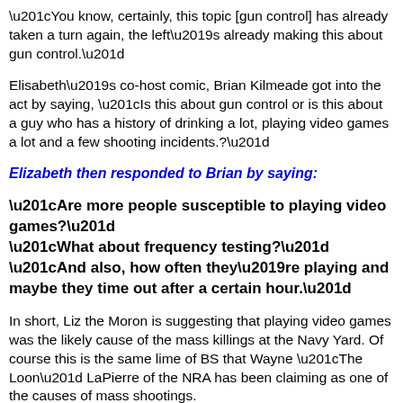“You know, certainly, this topic [gun control] has already taken a turn again, the left’s already making this about gun control.”
Elisabeth’s co-host comic, Brian Kilmeade got into the act by saying, “Is this about gun control or is this about a guy who has a history of drinking a lot, playing video games a lot and a few shooting incidents.?”
Elizabeth then responded to Brian by saying:
“Are more people susceptible to playing video games?”
“What about frequency testing?”
“And also, how often they’re playing and maybe they time out after a certain hour.”
In short, Liz the Moron is suggesting that playing video games was the likely cause of the mass killings at the Navy Yard. Of course this is the same lime of BS that Wayne “The Loon” LaPierre of the NRA has been claiming as one of the causes of mass shootings.